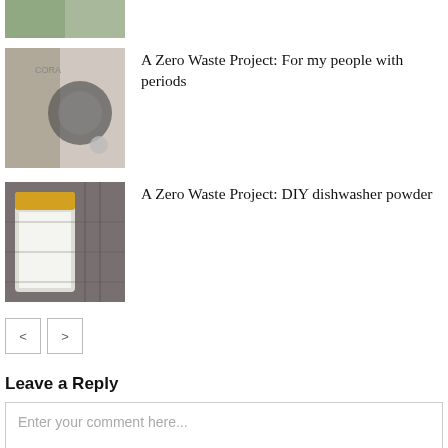[Figure (photo): Partial image of hand/green object, cropped at top]
[Figure (photo): Photo showing Cora product with disc-shaped item]
A Zero Waste Project: For my people with periods
[Figure (photo): Photo showing glass jar with white powder and yellow lid in dishwasher]
A Zero Waste Project: DIY dishwasher powder
< >  (pagination buttons)
Leave a Reply
Enter your comment here...